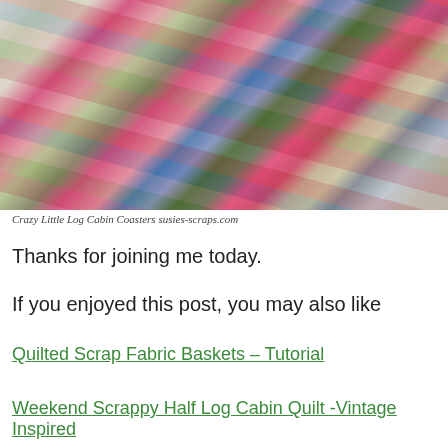[Figure (photo): Stack of colorful quilted fabric coasters/pieces with various patterns including floral, polka dot, plaid, tied together with twine, on a light gray background.]
Crazy Little Log Cabin Coasters susies-scraps.com
Thanks for joining me today.
If you enjoyed this post, you may also like
Quilted Scrap Fabric Baskets – Tutorial
Weekend Scrappy Half Log Cabin Quilt -Vintage Inspired